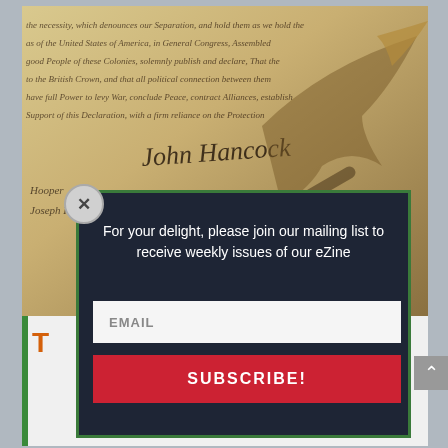[Figure (photo): Photo of a historical handwritten document resembling the Declaration of Independence with cursive script and quill pen visible]
For your delight, please join our mailing list to receive weekly issues of our eZine
[Figure (screenshot): Email input field with placeholder text EMAIL and a red SUBSCRIBE! button below it, inside a dark modal popup with green border]